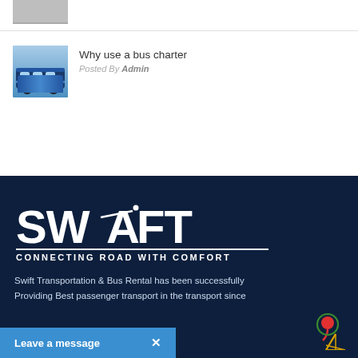[Figure (photo): Partial thumbnail of a vehicle/bus, cropped at top]
[Figure (photo): Blue futuristic bus thumbnail image]
Why use a bus charter
Posted By Admin
[Figure (logo): Swift logo — SWIFT CONNECTING ROAD WITH COMFORT on dark navy background]
Swift Transportation & Bus Rental has been successfully Providing Best passenger transport in the transport since
Leave a message  ✕